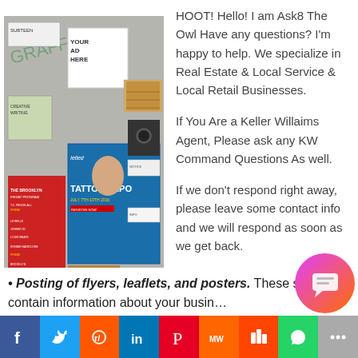[Figure (photo): A wall covered with various posters, flyers, and leaflets including a Tattoo Expo poster and other advertisements, with graffiti in the background.]
HOOT! Hello! I am Ask8 The Owl Have any questions? I'm happy to help. We specialize in Real Estate & Local Service & Local Retail Businesses.
If You Are a Keller Willaims Agent, Please ask any KW Command Questions As well.
If we don't respond right away, please leave some contact info and we will respond as soon as we get back.
• Posting of flyers, leaflets, and posters. These should contain information about your busin…